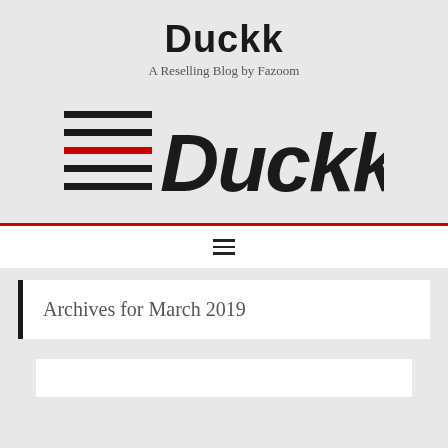Duckk
A Reselling Blog by Fazoom
[Figure (logo): Duckk!!! logo with horizontal black and red lines on the left side and bold italic text reading Duckk!!!]
Archives for March 2019